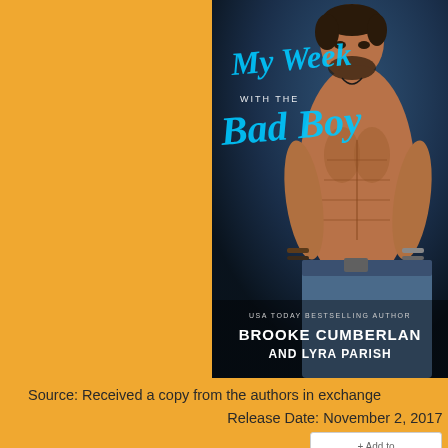[Figure (illustration): Book cover for 'My Week with the Bad Boy' by Brooke Cumberland and Lyra Parish. Shows a shirtless muscular man with dark hair and beard against a dark blue background. Title text in blue cursive/script font across the cover. Authors listed at bottom: USA Today Bestselling Author, Brooke Cumberland and Lyra Parish.]
Source: Received a copy from the authors in exchange
Release Date: November 2, 2017
[Figure (other): + Add to goodreads button]